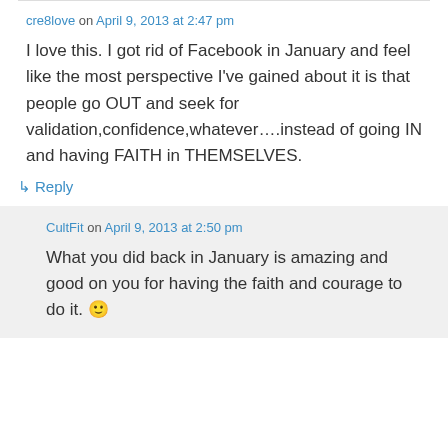cre8love on April 9, 2013 at 2:47 pm
I love this. I got rid of Facebook in January and feel like the most perspective I've gained about it is that people go OUT and seek for validation,confidence,whatever....instead of going IN and having FAITH in THEMSELVES.
↳ Reply
CultFit on April 9, 2013 at 2:50 pm
What you did back in January is amazing and good on you for having the faith and courage to do it. 🙂